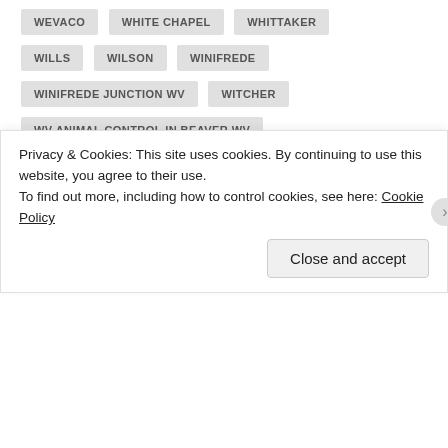WEVACO
WHITE CHAPEL
WHITTAKER
WILLS
WILSON
WINIFREDE
WINIFREDE JUNCTION WV
WITCHER
WV ANIMAL CONTROL IN BEAVER WV
YOUNGS BOTTOM WEST VIRGINIA
[Figure (other): Teal circular button with horizontal lines icon (menu/list icon)]
Privacy & Cookies: This site uses cookies. By continuing to use this website, you agree to their use.
To find out more, including how to control cookies, see here: Cookie Policy
Close and accept